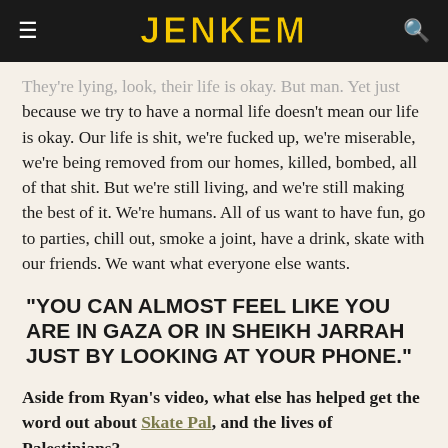JENKEM
They're lying, look, their life is okay. But man. Just because we try to have a normal life doesn't mean our life is okay. Our life is shit, we're fucked up, we're miserable, we're being removed from our homes, killed, bombed, all of that shit. But we're still living, and we're still making the best of it. We're humans. All of us want to have fun, go to parties, chill out, smoke a joint, have a drink, skate with our friends. We want what everyone else wants.
“YOU CAN ALMOST FEEL LIKE YOU ARE IN GAZA OR IN SHEIKH JARRAH JUST BY LOOKING AT YOUR PHONE.”
Aside from Ryan’s video, what else has helped get the word out about Skate Pal, and the lives of Palestinians?
Social media really helped with the cause of showing people what we are doing here and what organizations like Skate Pal and even Social media li...